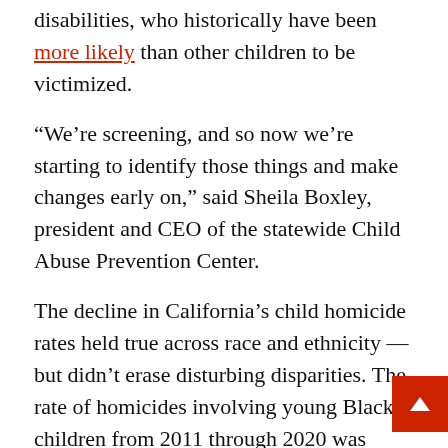disabilities, who historically have been more likely than other children to be victimized.
“We’re screening, and so now we’re starting to identify those things and make changes early on,” said Sheila Boxley, president and CEO of the statewide Child Abuse Prevention Center.
The decline in California’s child homicide rates held true across race and ethnicity — but didn’t erase disturbing disparities. The rate of homicides involving young Black children from 2011 through 2020 was more than three times as high as the rate for white and Hispanic children and about seven times as high as the rate for Asian children.
Tilton Durfee blamed long-standing systemic racism. She said the factors often at play in families